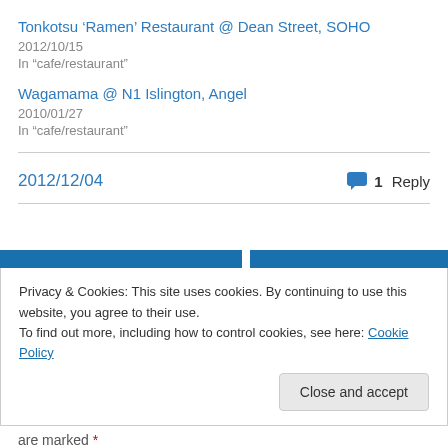Tonkotsu ‘Ramen’ Restaurant @ Dean Street, SOHO
2012/10/15
In “cafe/restaurant”
Wagamama @ N1 Islington, Angel
2010/01/27
In “cafe/restaurant”
2012/12/04
1 Reply
Privacy & Cookies: This site uses cookies. By continuing to use this website, you agree to their use.
To find out more, including how to control cookies, see here: Cookie Policy
Close and accept
are marked *